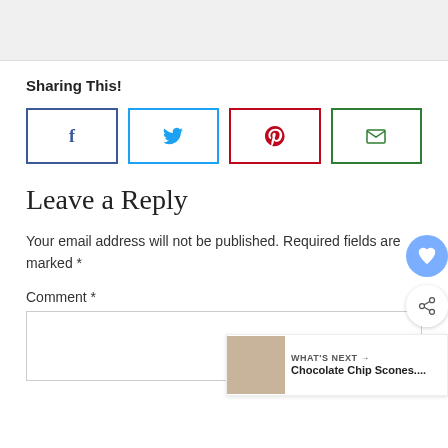[Figure (screenshot): Gray top bar area at top of page]
Sharing This!
[Figure (infographic): Four social sharing buttons: Facebook (blue border, f icon), Twitter (light blue border, bird icon), Pinterest (red border, p icon), Email (green border, envelope icon)]
Leave a Reply
Your email address will not be published. Required fields are marked *
Comment *